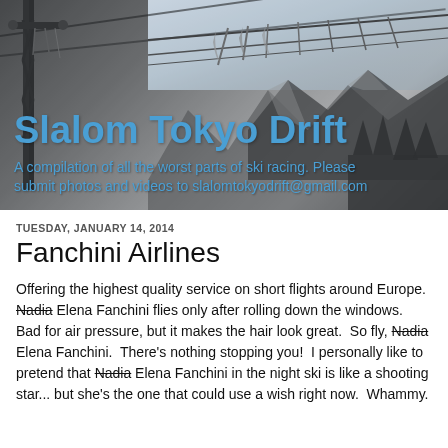[Figure (photo): Black and white photo of a ski lift cable car tower with cables and flags/ropes in winter mountain setting, with mountain peaks and trees visible in the background]
Slalom Tokyo Drift
A compilation of all the worst parts of ski racing. Please submit photos and videos to slalomtokyodrift@gmail.com
TUESDAY, JANUARY 14, 2014
Fanchini Airlines
Offering the highest quality service on short flights around Europe.  Nadia Elena Fanchini flies only after rolling down the windows.  Bad for air pressure, but it makes the hair look great.  So fly, Nadia Elena Fanchini.  There's nothing stopping you!  I personally like to pretend that Nadia Elena Fanchini in the night ski is like a shooting star... but she's the one that could use a wish right now.  Whammy.